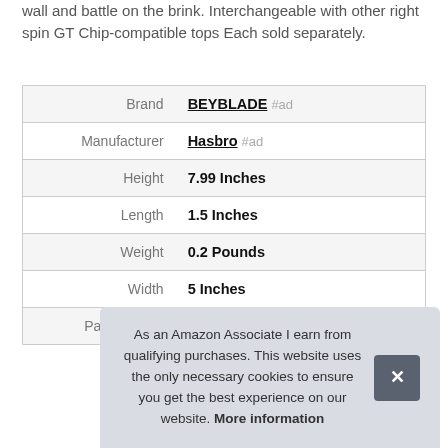wall and battle on the brink. Interchangeable with other right spin GT Chip-compatible tops Each sold separately.
|  |  |
| --- | --- |
| Brand | BEYBLADE #ad |
| Manufacturer | Hasbro #ad |
| Height | 7.99 Inches |
| Length | 1.5 Inches |
| Weight | 0.2 Pounds |
| Width | 5 Inches |
| Part Number | E7712 |
As an Amazon Associate I earn from qualifying purchases. This website uses the only necessary cookies to ensure you get the best experience on our website. More information